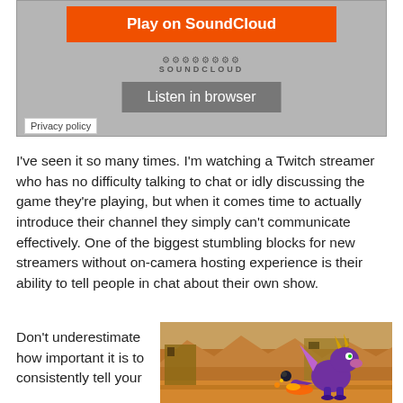[Figure (screenshot): SoundCloud embedded player widget with orange 'Play on SoundCloud' button, SoundCloud logo with waveform bars, grey 'Listen in browser' button, and 'Privacy policy' link in the bottom-left corner]
I've seen it so many times. I'm watching a Twitch streamer who has no difficulty talking to chat or idly discussing the game they're playing, but when it comes time to actually introduce their channel they simply can't communicate effectively. One of the biggest stumbling blocks for new streamers without on-camera hosting experience is their ability to tell people in chat about their own show.
Don't underestimate how important it is to consistently tell your
[Figure (screenshot): Screenshot of a video game showing a purple dragon character (Spyro) in a desert-themed level with orange rocky terrain and buildings in the background]